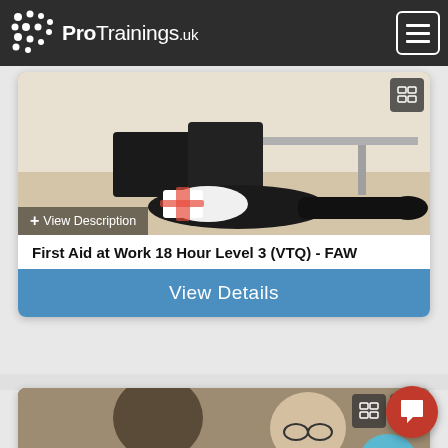[Figure (logo): ProTrainings.uk logo with dot-circle icon on dark nav bar]
[Figure (photo): Person lying on floor receiving first aid, office setting with overturned chair]
+ View Description
First Aid at Work 18 Hour Level 3 (VTQ) - FAW
View Details
[Figure (photo): Training session: two men face to face in discussion, group in background]
+ View D
First Aid at Work Annual Refresher (VTQ)
Need a quote for your company?